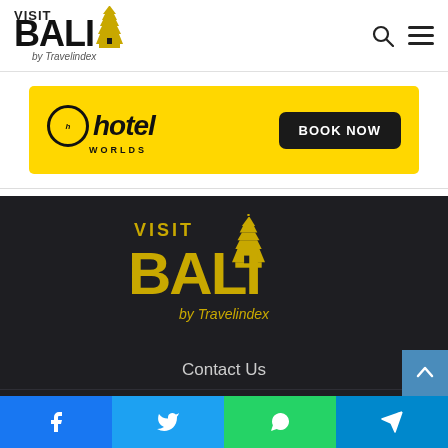[Figure (logo): Visit Bali by Travelindex logo - black and gold temple pagoda icon, top left header]
[Figure (screenshot): Hotel Worlds advertisement banner with yellow background and BOOK NOW button]
[Figure (logo): Visit Bali by Travelindex logo in gold on dark background, footer area]
Contact Us
Home
About Us
[Figure (infographic): Social share bar with Facebook, Twitter, WhatsApp, and Telegram icons at bottom]